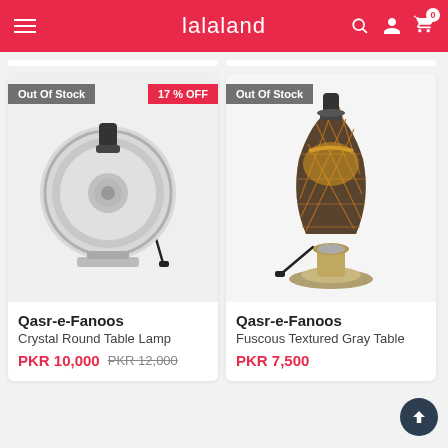lalaland
[Figure (photo): Silver crystal round table lamp base with circular decorative disc, no shade, with black cord]
Out Of Stock
17 % OFF
Qasr-e-Fanoos
Crystal Round Table Lamp
PKR 10,000 PKR 12,000
[Figure (photo): Gold and black textured vase-shaped table lamp base with ornate pattern, no shade, with black cord]
Out Of Stock
Qasr-e-Fanoos
Fuscous Textured Gray Table
PKR 7,500